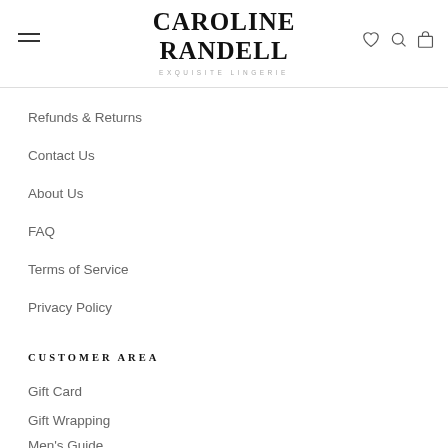CAROLINE RANDELL EXQUISITE LINGERIE
Refunds & Returns
Contact Us
About Us
FAQ
Terms of Service
Privacy Policy
CUSTOMER AREA
Gift Card
Gift Wrapping
Men's Guide